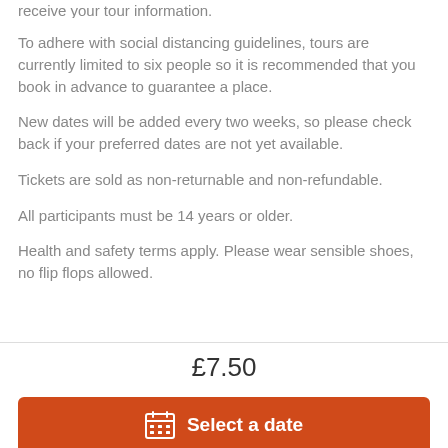receive your tour information.
To adhere with social distancing guidelines, tours are currently limited to six people so it is recommended that you book in advance to guarantee a place.
New dates will be added every two weeks, so please check back if your preferred dates are not yet available.
Tickets are sold as non-returnable and non-refundable.
All participants must be 14 years or older.
Health and safety terms apply. Please wear sensible shoes, no flip flops allowed.
£7.50
Select a date